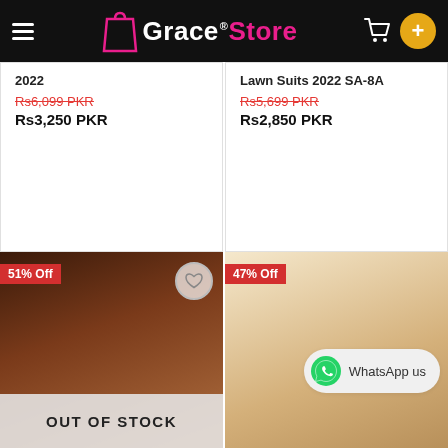Grace Store
2022
Rs6,099 PKR
Rs3,250 PKR
Lawn Suits 2022 SA-8A
Rs5,699 PKR
Rs2,850 PKR
[Figure (photo): Woman in dark floral outfit, 51% Off badge, OUT OF STOCK overlay]
[Figure (photo): Woman in beige embroidered suit, 47% Off badge, WhatsApp us bubble]